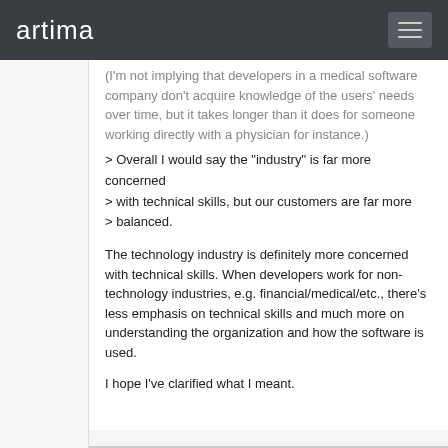artima
(I'm not implying that developers in a medical software company don't acquire knowledge of the users' needs over time, but it takes longer than it does for someone working directly with a physician for instance.)
> Overall I would say the "industry" is far more concerned
> with technical skills, but our customers are far more
> balanced.
The technology industry is definitely more concerned with technical skills. When developers work for non-technology industries, e.g. financial/medical/etc., there's less emphasis on technical skills and much more on understanding the organization and how the software is used.
I hope I've clarified what I meant.